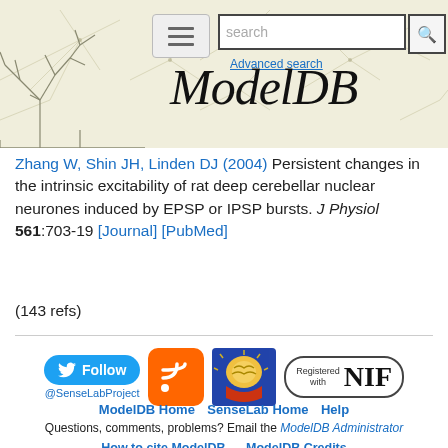[Figure (screenshot): ModelDB website header with logo, hamburger menu, search bar, and decorative neuron background]
Zhang W, Shin JH, Linden DJ (2004) Persistent changes in the intrinsic excitability of rat deep cerebellar nuclear neurones induced by EPSP or IPSP bursts. J Physiol 561:703-19 [Journal] [PubMed]
(143 refs)
[Figure (logo): Footer icons: Twitter Follow @SenseLabProject button, RSS feed icon, brain/head icon, Registered with NIF badge]
ModelDB Home  SenseLab Home  Help
Questions, comments, problems? Email the ModelDB Administrator
How to cite ModelDB    ModelDB Credits
© This site is Copyright @1998-2022 Shepherd Lab, Yale University